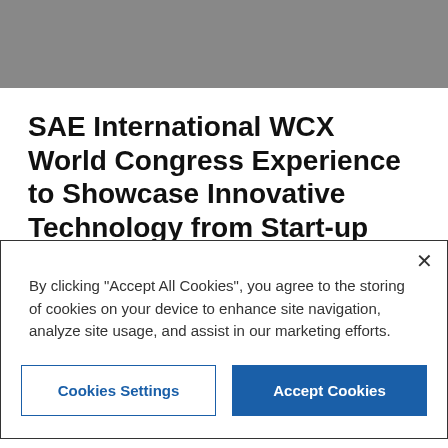[Figure (screenshot): Gray header bar at top of page]
SAE International WCX World Congress Experience to Showcase Innovative Technology from Start-up Companies
[Figure (screenshot): Cookie consent modal dialog with close button (×), text about cookies, and two buttons: 'Cookies Settings' (outlined) and 'Accept Cookies' (filled blue)]
technologies. The include: